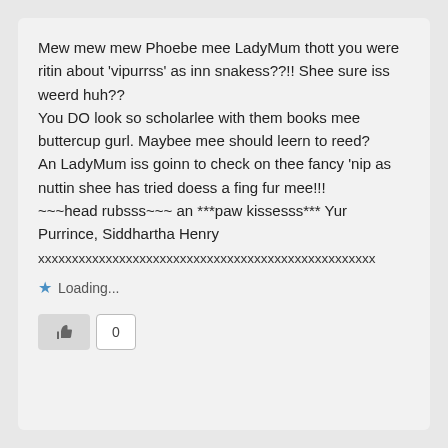Mew mew mew Phoebe mee LadyMum thott you were ritin about 'vipurrss' as inn snakess??!! Shee sure iss weerd huh??
You DO look so scholarlee with them books mee buttercup gurl. Maybee mee should leern to reed?
An LadyMum iss goinn to check on thee fancy 'nip as nuttin shee has tried doess a fing fur mee!!!
~~~head rubsss~~~ an ***paw kissesss*** Yur Purrince, Siddhartha Henry
xxxxxxxxxxxxxxxxxxxxxxxxxxxxxxxxxxxxxxxxxxxxxxxxxx
Loading...
0